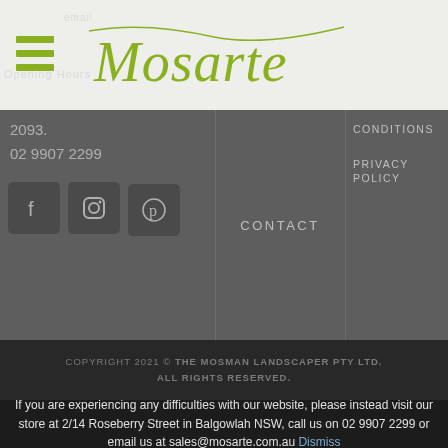Mosarte
2093.
02 9907 2299
CONTACT
CONDITIONS
PRIVACY POLICY
COPYRIGHT 2021 © THE MOSMAN LANDSCAPER PTY LTD. ALL RIGHTS RESERVED.
If you are experiencing any difficulties with our website, please instead visit our store at 2/14 Roseberry Street in Balgowlah NSW, call us on 02 9907 2299 or email us at sales@mosarte.com.au Dismiss